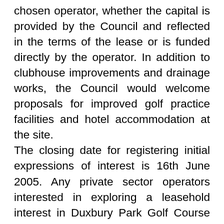chosen operator, whether the capital is provided by the Council and reflected in the terms of the lease or is funded directly by the operator. In addition to clubhouse improvements and drainage works, the Council would welcome proposals for improved golf practice facilities and hotel accommodation at the site. The closing date for registering initial expressions of interest is 16th June 2005. Any private sector operators interested in exploring a leasehold interest in Duxbury Park Golf Course should contact in the first instance Mark Smith of the Council's retained consultants, John Ashworth Associates who will distribute